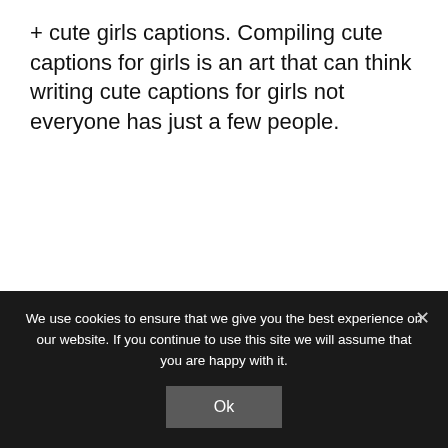+ cute girls captions. Compiling cute captions for girls is an art that can think writing cute captions for girls not everyone has just a few people.
We use cookies to ensure that we give you the best experience on our website. If you continue to use this site we will assume that you are happy with it.
Ok